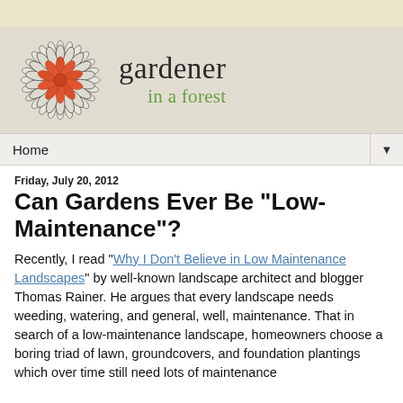[Figure (logo): Circular flower/dahlia logo with orange-red petals at center and black outlined petal layers, beside site name 'gardener in a forest']
Home ▼
Friday, July 20, 2012
Can Gardens Ever Be "Low-Maintenance"?
Recently, I read "Why I Don't Believe in Low Maintenance Landscapes" by well-known landscape architect and blogger Thomas Rainer. He argues that every landscape needs weeding, watering, and general, well, maintenance. That in search of a low-maintenance landscape, homeowners choose a boring triad of lawn, groundcovers, and foundation plantings which over time still need lots of maintenance